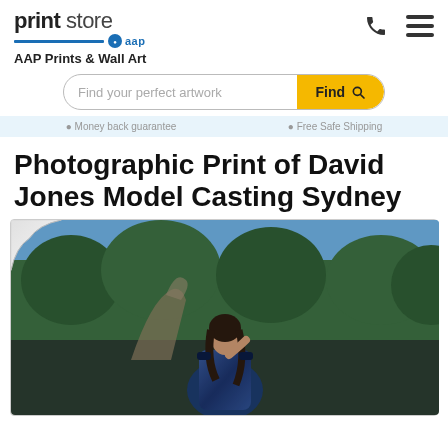print store aap
AAP Prints & Wall Art
Find your perfect artwork
Photographic Print of David Jones Model Casting Sydney
[Figure (photo): A woman in a blue off-shoulder sequin dress standing outdoors in front of trees, with a sculptural art piece visible behind her. She has long dark hair and is posing with one hand near her neck. The setting appears to be a garden or park in Sydney.]